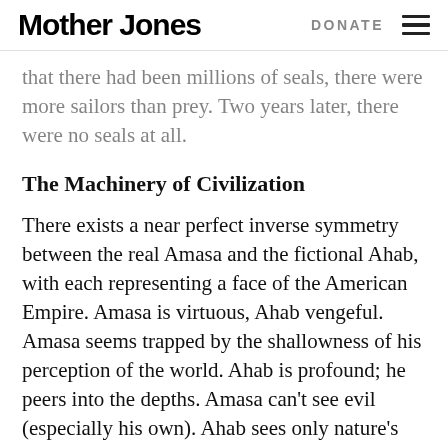Mother Jones   DONATE
that there had been millions of seals, there were more sailors than prey. Two years later, there were no seals at all.
The Machinery of Civilization
There exists a near perfect inverse symmetry between the real Amasa and the fictional Ahab, with each representing a face of the American Empire. Amasa is virtuous, Ahab vengeful. Amasa seems trapped by the shallowness of his perception of the world. Ahab is profound; he peers into the depths. Amasa can't see evil (especially his own). Ahab sees only nature's “intangible malignity.”